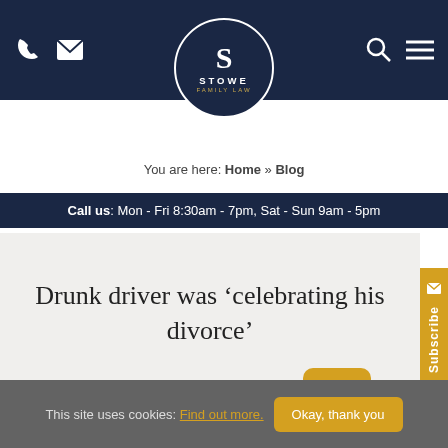Stowe Family Law — navigation bar with phone, email icons, logo, search and menu
You are here: Home » Blog
Call us: Mon - Fri 8:30am - 7pm, Sat - Sun 9am - 5pm
Drunk driver was 'celebrating his divorce'
Divorce and separation  |  26 Jan 2016  [2 comments]
This site uses cookies: Find out more. Okay, thank you